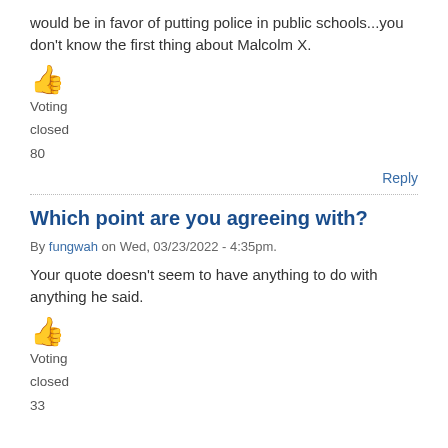would be in favor of putting police in public schools...you don't know the first thing about Malcolm X.
[Figure (illustration): Thumbs up emoji icon in orange/yellow color]
Voting
closed
80
Reply
Which point are you agreeing with?
By fungwah on Wed, 03/23/2022 - 4:35pm.
Your quote doesn't seem to have anything to do with anything he said.
[Figure (illustration): Thumbs up emoji icon in orange/yellow color]
Voting
closed
33